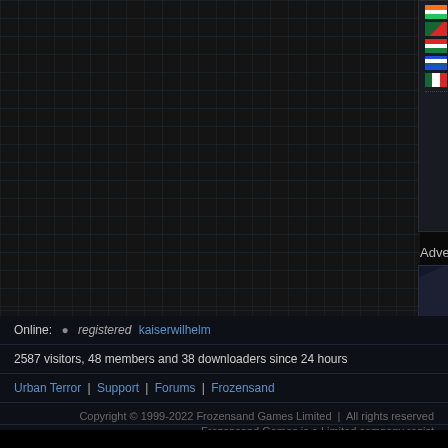[Figure (screenshot): Grid-background website panel with country flag statistics showing flags with count of 1 each, arranged in rows of three]
Advertisement
[Figure (other): Advertisement banner area with dark diagonal stripe pattern]
Online:  •  registered  kaiserwilhelm
2587 visitors, 48 members and 38 downloaders since 24 hours
Urban Terror | Support | Forums | Frozensand
Copyright © 1999-2022 Frozensand Games Limited  |  All rights reserved
Frozensand Games is a Limited company regis